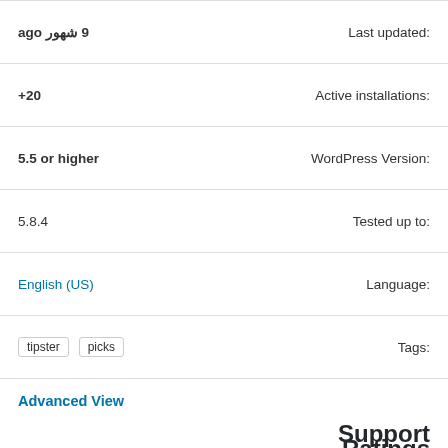Last updated: 9 شهور ago
Active installations: +20
WordPress Version: 5.5 or higher
Tested up to: 5.8.4
Language: English (US)
Tags: tipster picks
Advanced View
Ratings
This plugin has not been rated yet.
Log in to submit a review.
Support